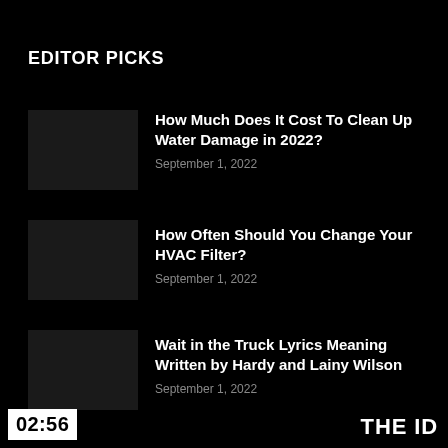EDITOR PICKS
How Much Does It Cost To Clean Up Water Damage in 2022?
September 1, 2022
How Often Should You Change Your HVAC Filter?
September 1, 2022
Wait in the Truck Lyrics Meaning Written by Hardy and Lainy Wilson
September 1, 2022
02:56  THE ID